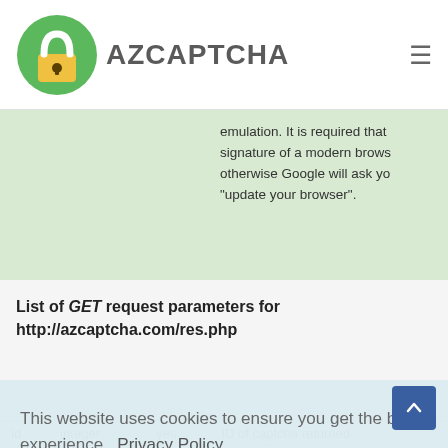[Figure (logo): AZCAPTCHA logo: green circle with white unlocked padlock icon, yellow body]
AZCAPTCHA
emulation. It is required that signature of a modern brows otherwise Google will ask yo "update your browser".
List of GET request parameters for http://azcaptcha.com/res.php
This website uses cookies to ensure you get the best experience.  Privacy Policy
Got it!
| id | integer | yes | ID of captcha returned |
| --- | --- | --- | --- |